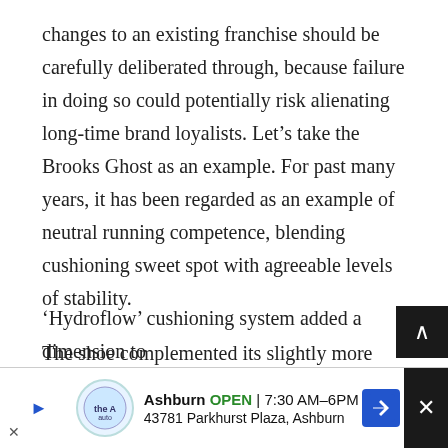changes to an existing franchise should be carefully deliberated through, because failure in doing so could potentially risk alienating long-time brand loyalists. Let’s take the Brooks Ghost as an example. For past many years, it has been regarded as an example of neutral running competence, blending cushioning sweet spot with agreeable levels of stability.
The shoe complemented its slightly more expensive cousin, the Glycerin, but at the same time maintained a clear differentiation strategy based on levels of kit included. Till the Ghost 3, Brook’s liquid filled ‘Hydroflow’ cushioning system added a dimension to th...
[Figure (other): Advertisement banner for The Auto, showing Ashburn location OPEN 7:30AM-6PM at 43781 Parkhurst Plaza, Ashburn, with a blue navigation arrow icon and close button.]